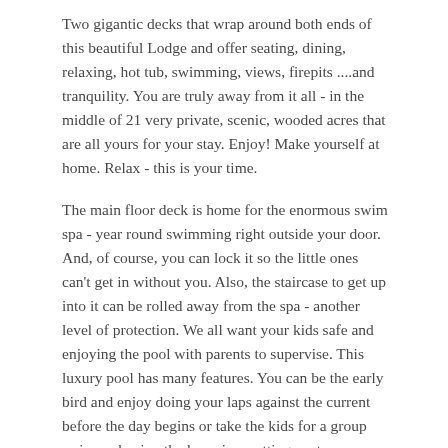Two gigantic decks that wrap around both ends of this beautiful Lodge and offer seating, dining, relaxing, hot tub, swimming, views, firepits ....and tranquility. You are truly away from it all - in the middle of 21 very private, scenic, wooded acres that are all yours for your stay. Enjoy! Make yourself at home. Relax - this is your time.
The main floor deck is home for the enormous swim spa - year round swimming right outside your door. And, of course, you can lock it so the little ones can't get in without you. Also, the staircase to get up into it can be rolled away from the spa - another level of protection. We all want your kids safe and enjoying the pool with parents to supervise. This luxury pool has many features. You can be the early bird and enjoy doing your laps against the current before the day begins or take the kids for a group swim and enjoy the lazy river setting, water fountains, and LED light show. Or you might want to just relax with friends in the bubbling, warm water. You simply increase the temperature and your private pool becomes a large private hot tub under the stars and the beautiful mountain sky making this pool as much